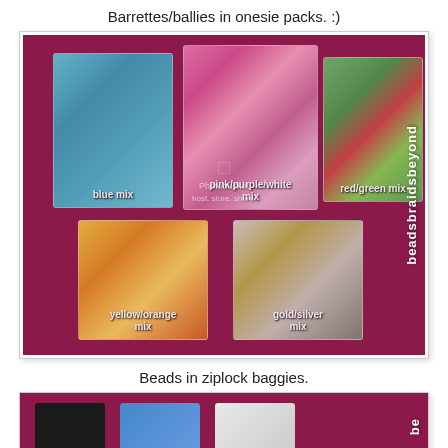Barrettes/ballies in onesie packs. :)
[Figure (photo): Photo showing five ziplock bags of beads on a magenta/dark pink background. Bags are labeled: blue mix (top left), pink/purple/white mix (top center), red/green mix (top right), yellow/orange mix (bottom left), gold/silver mix (bottom center). Brand watermark 'beadsbraidsbeyond' written vertically on the right side. Photobucket watermark in the center.]
Beads in ziplock baggies.
[Figure (photo): Partial photo on magenta background showing items (dark item, blue patterned item, white/clear item). Brand text 'be' visible on the right side, partially cropped.]